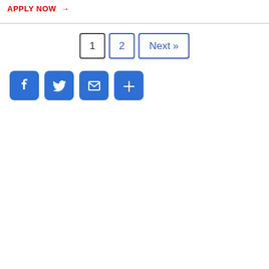APPLY NOW →
[Figure (other): Pagination buttons: 1 (active/current), 2, Next »]
[Figure (other): Social media share buttons: Facebook, Twitter, Email, More (+)]